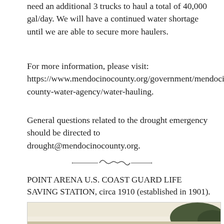need an additional 3 trucks to haul a total of 40,000 gal/day. We will have a continued water shortage until we are able to secure more haulers.
For more information, please visit: https://www.mendocinocounty.org/government/mendocino-county-water-agency/water-hauling.
General questions related to the drought emergency should be directed to drought@mendocinocounty.org.
[Figure (illustration): Decorative divider ornament with scroll/wave design]
POINT ARENA U.S. COAST GUARD LIFE SAVING STATION, circa 1910 (established in 1901).
[Figure (photo): Historical photograph of Point Arena U.S. Coast Guard Life Saving Station circa 1910]